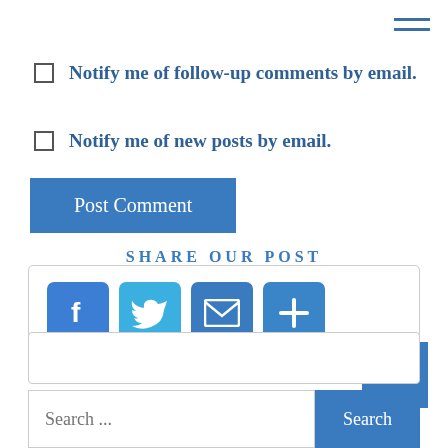[Figure (other): Hamburger menu icon (three horizontal lines) in top-right corner]
Notify me of follow-up comments by email.
Notify me of new posts by email.
Post Comment
SHARE OUR POST
[Figure (other): Social share icons: Facebook, Twitter, Email, More (plus)]
[Figure (other): Back to top button with upward chevron arrow]
Search ...